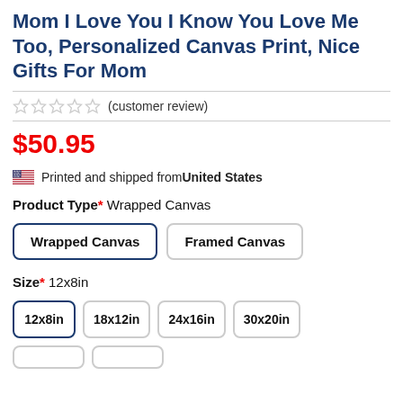Mom I Love You I Know You Love Me Too, Personalized Canvas Print, Nice Gifts For Mom
(customer review)
$50.95
Printed and shipped from United States
Product Type*  Wrapped Canvas
Wrapped Canvas
Framed Canvas
Size*  12x8in
12x8in
18x12in
24x16in
30x20in